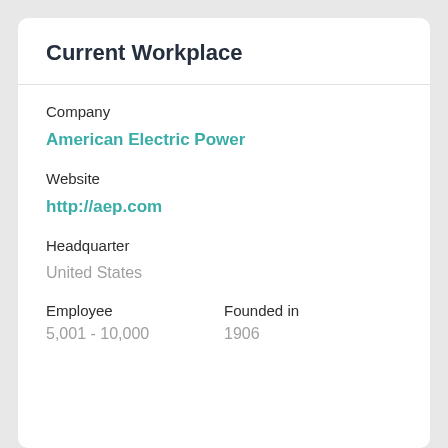Current Workplace
Company
American Electric Power
Website
http://aep.com
Headquarter
United States
Employee
Founded in
5,001 - 10,000
1906